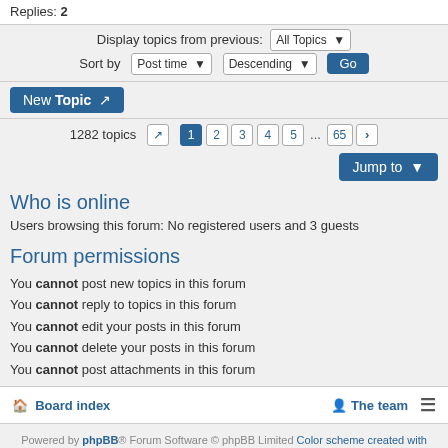Replies: 2
Display topics from previous: All Topics
Sort by Post time Descending Go
New Topic
1282 topics  1 2 3 4 5 ... 65 >
Jump to
Who is online
Users browsing this forum: No registered users and 3 guests
Forum permissions
You cannot post new topics in this forum
You cannot reply to topics in this forum
You cannot edit your posts in this forum
You cannot delete your posts in this forum
You cannot post attachments in this forum
Board index   The team
Powered by phpBB® Forum Software © phpBB Limited Color scheme created with Colorize It. Style by Arty